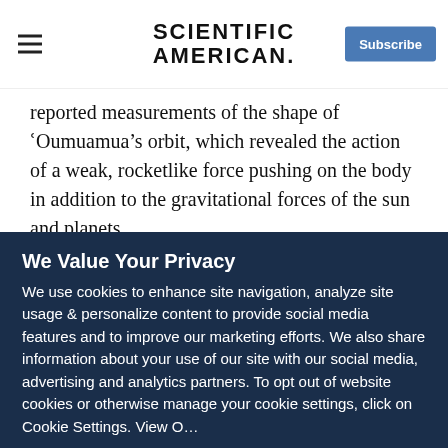Scientific American — Subscribe
reported measurements of the shape of 'Oumuamua's orbit, which revealed the action of a weak, rocketlike force pushing on the body in addition to the gravitational forces of the sun and planets.
So-called nongravitational forces are well known to exist in comets, arising from the asymmetric push of ices sublimating from the dayside of the comet's core. But 'Oumuamua is not a comet. And it showed no evidence that it was losing mass at all, which could have explained the force. Could it be that
We Value Your Privacy
We use cookies to enhance site navigation, analyze site usage & personalize content to provide social media features and to improve our marketing efforts. We also share information about your use of our site with our social media, advertising and analytics partners. To opt out of website cookies or otherwise manage your cookie settings, click on Cookie Settings. View O…